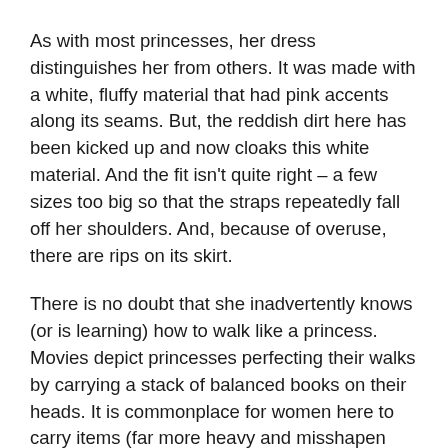As with most princesses, her dress distinguishes her from others. It was made with a white, fluffy material that had pink accents along its seams. But, the reddish dirt here has been kicked up and now cloaks this white material. And the fit isn't quite right – a few sizes too big so that the straps repeatedly fall off her shoulders. And, because of overuse, there are rips on its skirt.
There is no doubt that she inadvertently knows (or is learning) how to walk like a princess. Movies depict princesses perfecting their walks by carrying a stack of balanced books on their heads. It is commonplace for women here to carry items (far more heavy and misshapen than a stack of books) on their heads over long distances.
And, despite being no older than six years old, she can already capture people's attention with a certain energy about her that makes people want to follow. I first saw her